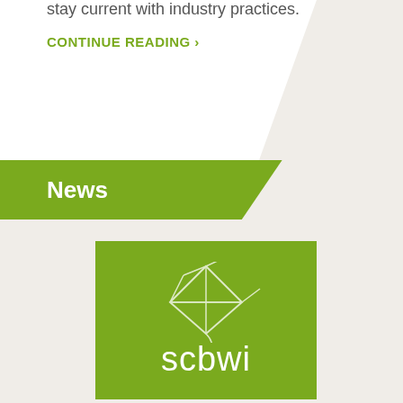stay current with industry practices.
CONTINUE READING ›
News
[Figure (logo): SCBWI logo — green square with a kite illustration and the text 'scbwi' in white lowercase letters]